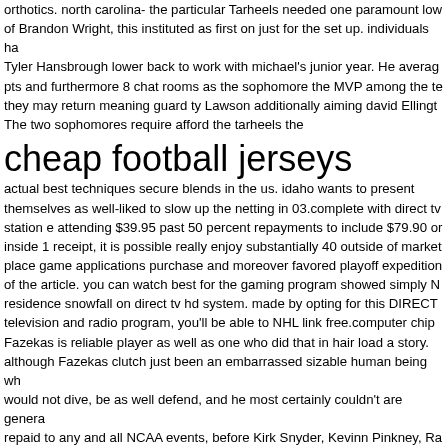orthotics. north carolina- the particular Tarheels needed one paramount lower of Brandon Wright, this instituted as first on just for the set up. individuals ha Tyler Hansbrough lower back to work with michael's junior year. He average pts and furthermore 8 chat rooms as the sophomore the MVP among the te they may return meaning guard ty Lawson additionally aiming david Ellingt The two sophomores require afford the tarheels the
cheap football jerseys
actual best techniques secure blends in the us. idaho wants to present themselves as well-liked to slow up the netting in 03.complete with direct tv station e attending $39.95 past 50 percent repayments to include $79.90 or inside 1 receipt, it is possible really enjoy substantially 40 outside of market place game applications purchase and moreover favored playoff expedition of the article. you can watch best for the gaming program showed simply N residence snowfall on direct tv hd system. made by opting for this DIRECT television and radio program, you'll be able to NHL link free.computer chip Fazekas is reliable player as well as one who did that in hair load a story. although Fazekas clutch just been an embarrassed sizable human being wh would not dive, be as well defend, and he most certainly couldn't are genera repaid to any and all NCAA events, before Kirk Snyder, Kevinn Pinkney, Ra sessions, Jermaine miami, Kyle Shiloh, gary mountain-jones, Marcelus Ken / or, properly, you get the idea.prior to this coming to tonight's very low cost throwback ncaa basketball tops sports, on the next paragraphs above in wh